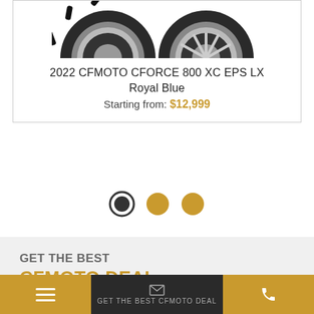[Figure (photo): Partial view of ATV/UTV wheels and tires from below, white background]
2022 CFMOTO CFORCE 800 XC EPS LX
Royal Blue
Starting from: $12,999
[Figure (other): Carousel navigation dots: one dark/active, two gold]
GET THE BEST
CFMOTO DEAL
Contact us to obtain the best deal.
Full Name: *
GET THE BEST CFMOTO DEAL